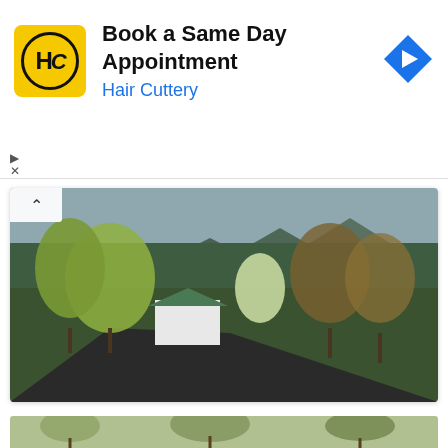[Figure (other): Hair Cuttery advertisement banner: yellow square logo with HC initials, text 'Book a Same Day Appointment' and 'Hair Cuttery' in blue, blue diamond navigation arrow icon on right]
[Figure (photo): Landscape photo of a rural scene in spring: a white house with green metal roof among trees with yellow-green spring foliage, mountains in background, winding road in foreground]
We've had abundant rains this spring, which, combined with our late season snowfall, have made the grass green up nicely.
[Figure (photo): Bottom edge of another outdoor nature/spring landscape photo, partially visible]